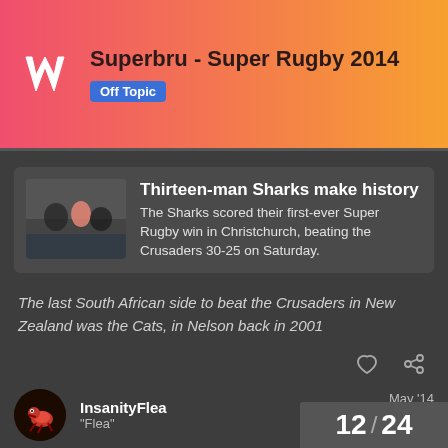Superbru - Super Rugby 2014 | Off Topic
Thirteen-man Sharks make history
The Sharks scored their first-ever Super Rugby win in Christchurch, beating the Crusaders 30-25 on Saturday.
The last South African side to beat the Crusaders in New Zealand was the Cats, in Nelson back in 2001
InsanityFlea
"Flea"
May '14
Hope you got your picks right @stool one
12 / 24